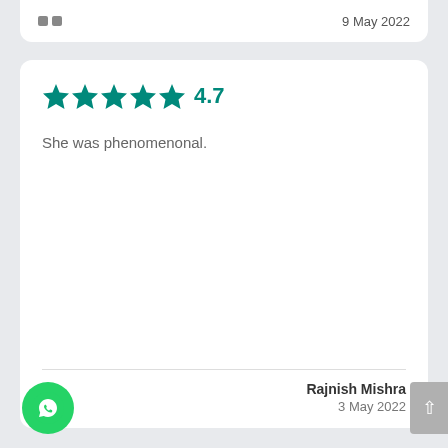9 May 2022
4.7 — She was phenomenonal.
Rajnish Mishra
3 May 2022